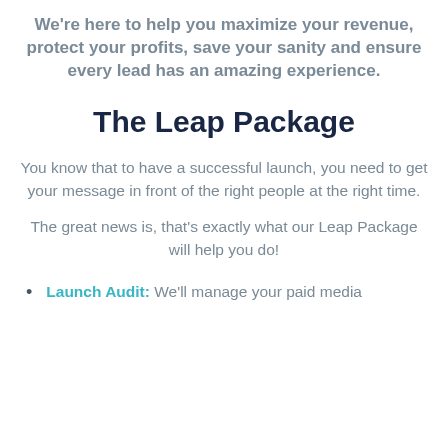We're here to help you maximize your revenue, protect your profits, save your sanity and ensure every lead has an amazing experience.
The Leap Package
You know that to have a successful launch, you need to get your message in front of the right people at the right time.
The great news is, that's exactly what our Leap Package will help you do!
Launch Audit: We'll manage your paid media